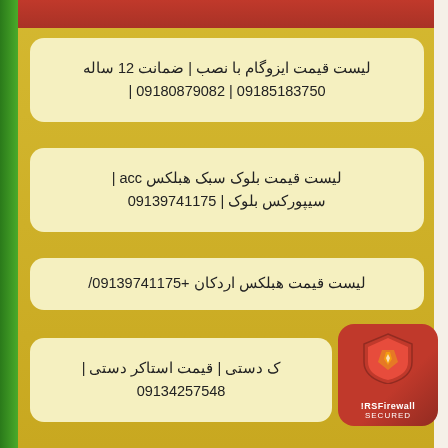لیست قیمت ایزوگام با نصب | ضمانت 12 ساله
09185183750 | 09180879082 |
لیست قیمت بلوک سبک هبلکس acc |
سیپورکس بلوک | 09139741175
لیست قیمت هبلکس اردکان +09139741175/
ک دستی | قیمت استاکر دستی |
09134257548